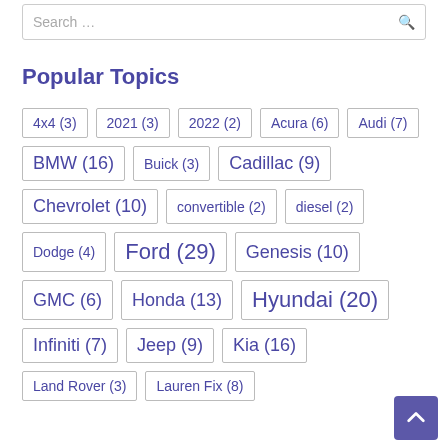Search ...
Popular Topics
4x4 (3)
2021 (3)
2022 (2)
Acura (6)
Audi (7)
BMW (16)
Buick (3)
Cadillac (9)
Chevrolet (10)
convertible (2)
diesel (2)
Dodge (4)
Ford (29)
Genesis (10)
GMC (6)
Honda (13)
Hyundai (20)
Infiniti (7)
Jeep (9)
Kia (16)
Land Rover (3)
Lauren Fix (8)